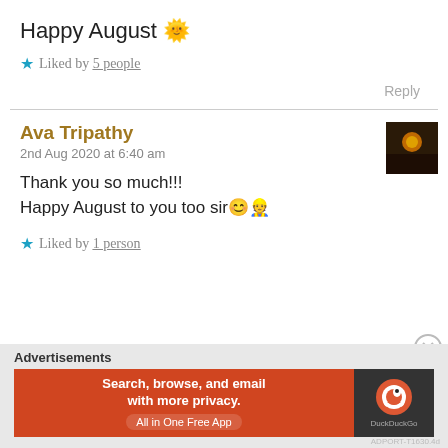Happy August 🌞
★ Liked by 5 people
Reply
Ava Tripathy
2nd Aug 2020 at 6:40 am
Thank you so much!!!
Happy August to you too sir😊😇
★ Liked by 1 person
[Figure (infographic): DuckDuckGo advertisement banner: 'Search, browse, and email with more privacy. All in One Free App']